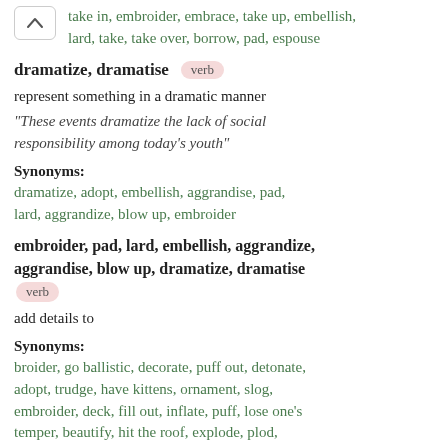take in, embroider, embrace, take up, embellish, lard, take, take over, borrow, pad, espouse
dramatize, dramatise  verb
represent something in a dramatic manner
"These events dramatize the lack of social responsibility among today's youth"
Synonyms:
dramatize, adopt, embellish, aggrandise, pad, lard, aggrandize, blow up, embroider
embroider, pad, lard, embellish, aggrandize, aggrandise, blow up, dramatize, dramatise  verb
add details to
Synonyms:
broider, go ballistic, decorate, puff out, detonate, adopt, trudge, have kittens, ornament, slog, embroider, deck, fill out, inflate, puff, lose one's temper, beautify, hit the roof, explode, plod, combust, flip one's lid, flip one's wig, magnify, expand, prettify, amplify, adorn, pad, embellish,